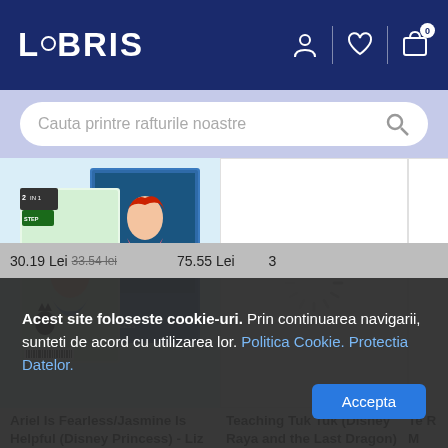[Figure (logo): LIBRIS logo in white on dark navy blue background header]
Cauta printre rafturile noastre
[Figure (photo): Book cover: Ariel Is Fearless / Jasmine Is Helpful (Disney Princess) - two book covers shown together on light blue background]
[Figure (other): Loading spinner (circular dashed spinner) on white book placeholder background]
[Figure (other): Partially visible third product card on right edge]
Ariel Is Fearless/Jasmine Is Helpful (Disney Princess) - Liz Marsham
Teaching Tuk Tuk (Disney Raya and the Last Dragon) - Mei Nakamura
Te R M
30.19 Lei
33.54 lei
75.55 Lei
3
Acest site foloseste cookie-uri. Prin continuarea navigarii, sunteti de acord cu utilizarea lor. Politica Cookie. Protectia Datelor.
Accepta